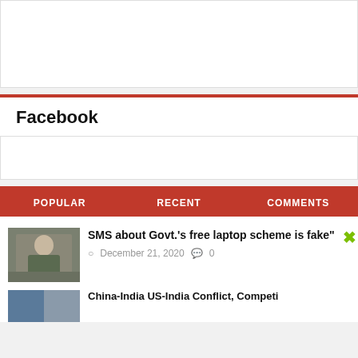[Figure (other): Advertisement placeholder box (white rectangle with border)]
Facebook
[Figure (other): Facebook widget placeholder box]
POPULAR   RECENT   COMMENTS
[Figure (photo): Photo of a military officer in uniform seated at a desk]
SMS about Govt.'s free laptop scheme is fake"
December 21, 2020   0
[Figure (photo): Partial photo of another article thumbnail]